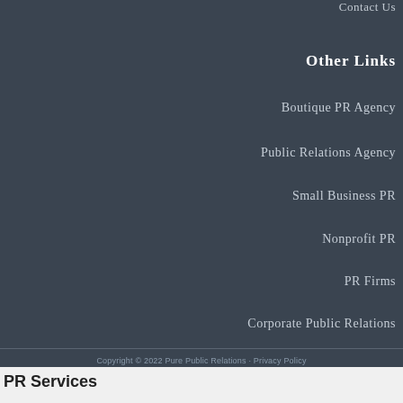Contact Us
Other Links
Boutique PR Agency
Public Relations Agency
Small Business PR
Nonprofit PR
PR Firms
Corporate Public Relations
Copyright © 2022 Pure Public Relations · Privacy Policy
PR Services